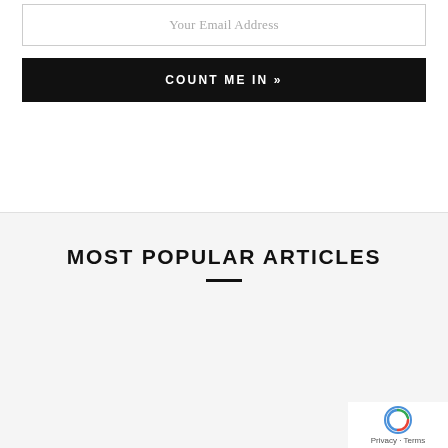Your Email Address
COUNT ME IN »
MOST POPULAR ARTICLES
[Figure (photo): Close-up photo of a dog (Charlie Bravo) with a person, warm tones, dog's nose and fur in foreground]
THE CHARLIE BRAVO STORY
Privacy · Terms